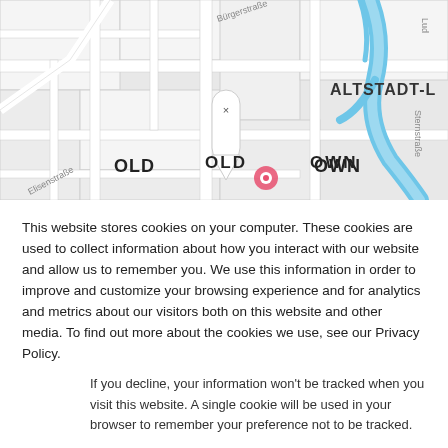[Figure (map): Street map showing Old Town area with blue waterway on right, street names Elisenstraße and Bürgerstraße visible, ALTSTADT-L label, a white location pin with X at top pointing downward to a pink/red circle marker labeled OLD TOWN]
This website stores cookies on your computer. These cookies are used to collect information about how you interact with our website and allow us to remember you. We use this information in order to improve and customize your browsing experience and for analytics and metrics about our visitors both on this website and other media. To find out more about the cookies we use, see our Privacy Policy.
If you decline, your information won't be tracked when you visit this website. A single cookie will be used in your browser to remember your preference not to be tracked.
Accept | Decline